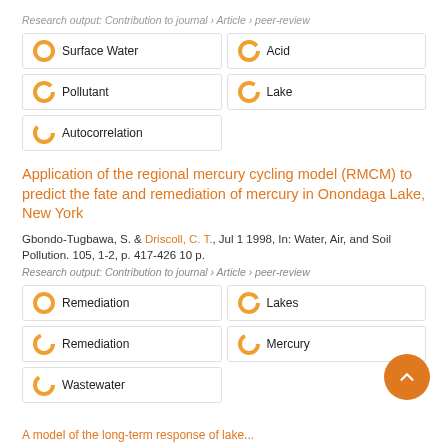Research output: Contribution to journal › Article › peer-review
Surface Water
Acid
Pollutant
Lake
Autocorrelation
Application of the regional mercury cycling model (RMCM) to predict the fate and remediation of mercury in Onondaga Lake, New York
Gbondo-Tugbawa, S. & Driscoll, C. T., Jul 1 1998, In: Water, Air, and Soil Pollution. 105, 1-2, p. 417-426 10 p.
Research output: Contribution to journal › Article › peer-review
Remediation
Lakes
Remediation
Mercury
Wastewater